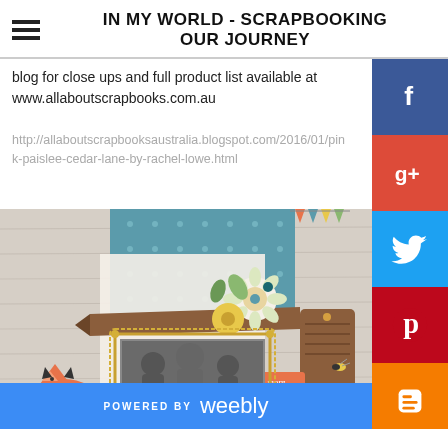IN MY WORLD - SCRAPBOOKING OUR JOURNEY
blog for close ups and full product list available at www.allaboutscrapbooks.com.au
http://allaboutscrapbooksaustralia.blogspot.com/2016/01/pin-k-paislee-cedar-lane-by-rachel-lowe.html
[Figure (photo): Scrapbook layout featuring a family photo in an ornate gold frame, surrounded by decorative paper, fox illustrations, flowers, and embellishments on a wood-grain background]
POWERED BY weebly